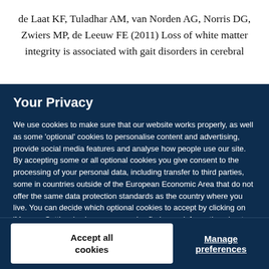de Laat KF, Tuladhar AM, van Norden AG, Norris DG, Zwiers MP, de Leeuw FE (2011) Loss of white matter integrity is associated with gait disorders in cerebral
Your Privacy
We use cookies to make sure that our website works properly, as well as some 'optional' cookies to personalise content and advertising, provide social media features and analyse how people use our site. By accepting some or all optional cookies you give consent to the processing of your personal data, including transfer to third parties, some in countries outside of the European Economic Area that do not offer the same data protection standards as the country where you live. You can decide which optional cookies to accept by clicking on 'Manage Settings', where you can also find more information about how your personal data is processed. Further information can be found in our privacy policy.
Accept all cookies
Manage preferences